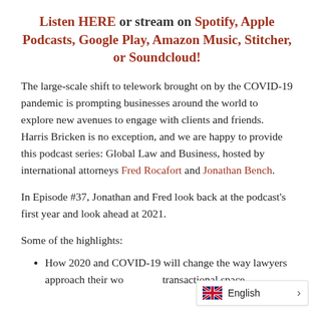Listen HERE or stream on Spotify, Apple Podcasts, Google Play, Amazon Music, Stitcher, or Soundcloud!
The large-scale shift to telework brought on by the COVID-19 pandemic is prompting businesses around the world to explore new avenues to engage with clients and friends. Harris Bricken is no exception, and we are happy to provide this podcast series: Global Law and Business, hosted by international attorneys Fred Rocafort and Jonathan Bench.
In Episode #37, Jonathan and Fred look back at the podcast's first year and look ahead at 2021.
Some of the highlights:
How 2020 and COVID-19 will change the way lawyers approach their work in the transactional space